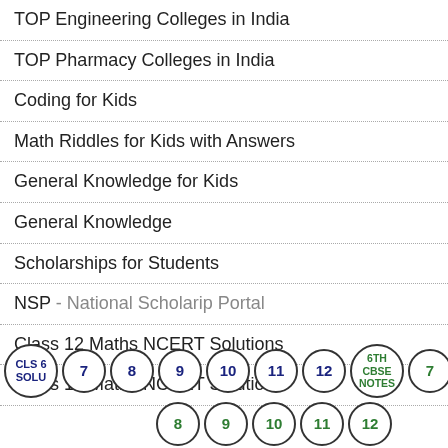TOP Engineering Colleges in India
TOP Pharmacy Colleges in India
Coding for Kids
Math Riddles for Kids with Answers
General Knowledge for Kids
General Knowledge
Scholarships for Students
NSP - National Scholarip Portal
Class 12 Maths NCERT Solutions
Class 11 Maths NCERT Solutions
[Figure (other): Row of clickable circle buttons: CLS 6 SOLU, 7, 8, 9, 10, 11, 12, 6TH CBSE NOTES, 7 (dark blue); second row: 8, 9, 10, 11, 12 (green)]